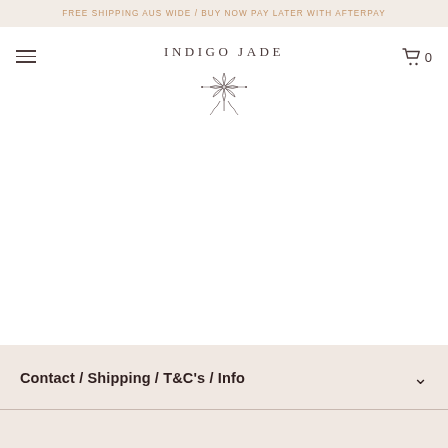FREE SHIPPING AUS WIDE / BUY NOW PAY LATER WITH AFTERPAY
[Figure (logo): Indigo Jade brand logo consisting of the text 'INDIGO JADE' in spaced serif lettering above a decorative lotus/flower line illustration]
Contact / Shipping / T&C's / Info